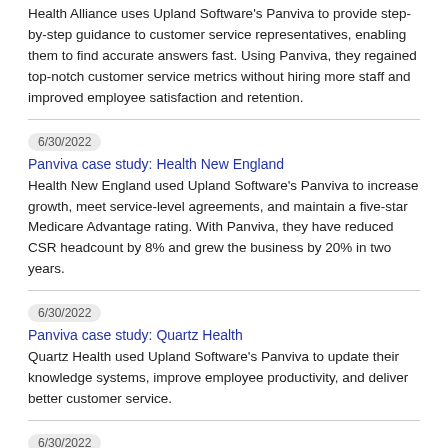Health Alliance uses Upland Software's Panviva to provide step-by-step guidance to customer service representatives, enabling them to find accurate answers fast. Using Panviva, they regained top-notch customer service metrics without hiring more staff and improved employee satisfaction and retention.
6/30/2022
Panviva case study: Health New England
Health New England used Upland Software's Panviva to increase growth, meet service-level agreements, and maintain a five-star Medicare Advantage rating. With Panviva, they have reduced CSR headcount by 8% and grew the business by 20% in two years.
6/30/2022
Panviva case study: Quartz Health
Quartz Health used Upland Software's Panviva to update their knowledge systems, improve employee productivity, and deliver better customer service.
6/30/2022
Panviva case study: Samaritan Health
Samaritan Health Services used Upland Software's Panviva to discover the hidden problems plaguing their growing team and to roll out improved processes that maximize efficiency, productivity,